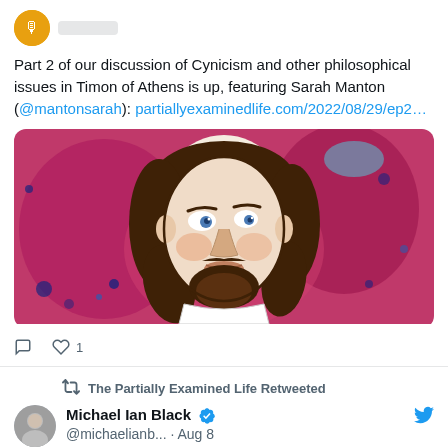[Figure (illustration): Colorful painted portrait illustration of Shakespeare-like figure with brown hair and beard on pink/red background with paint splatter]
Part 2 of our discussion of Cynicism and other philosophical issues in Timon of Athens is up, featuring Sarah Manton (@mantonsarah): partiallyexaminedlife.com/2022/08/29/ep2…
The Partially Examined Life Retweeted
Michael Ian Black @michaelianb... · Aug 8